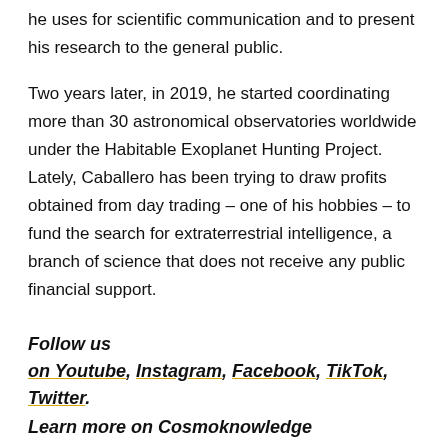he uses for scientific communication and to present his research to the general public.
Two years later, in 2019, he started coordinating more than 30 astronomical observatories worldwide under the Habitable Exoplanet Hunting Project. Lately, Caballero has been trying to draw profits obtained from day trading – one of his hobbies – to fund the search for extraterrestrial intelligence, a branch of science that does not receive any public financial support.
Follow us on Youtube, Instagram, Facebook, TikTok, Twitter.
Learn more on Cosmoknowledge